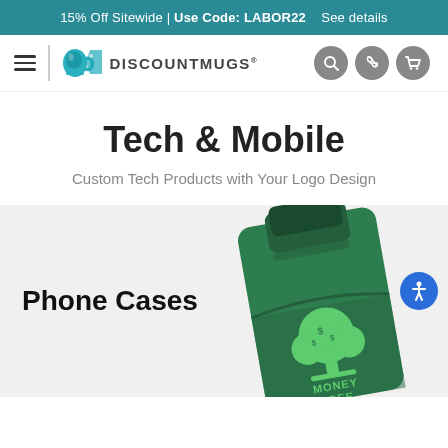15% Off Sitewide | Use Code: LABOR22   See details
[Figure (logo): DiscountMugs logo with teal mug icon and navigation bar with hamburger menu and icons for search, phone, and cart]
Tech & Mobile
Custom Tech Products with Your Logo Design
Phone Cases
[Figure (photo): Green silicone phone card holder/wallet with a Money Tree logo printed in bright green, shown at a slight angle on a light gray background]